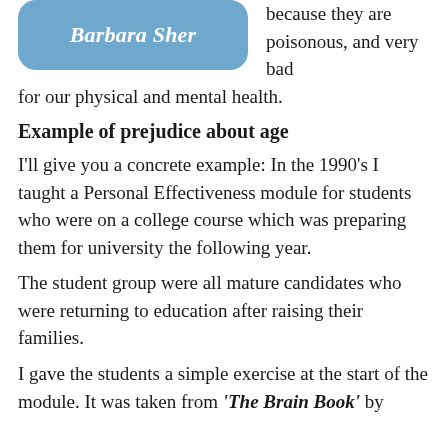[Figure (other): Blue rounded rectangle badge with italic bold white text 'Barbara Sher']
because they are poisonous, and very bad for our physical and mental health.
Example of prejudice about age
I'll give you a concrete example: In the 1990's I taught a Personal Effectiveness module for students who were on a college course which was preparing them for university the following year.
The student group were all mature candidates who were returning to education after raising their families.
I gave the students a simple exercise at the start of the module. It was taken from 'The Brain Book' by